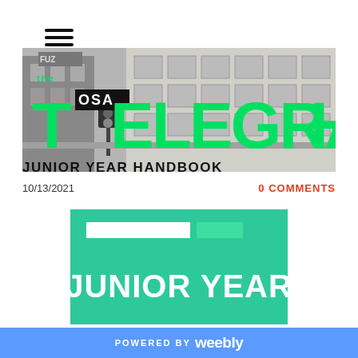[Figure (logo): Hamburger menu icon with three horizontal lines]
[Figure (photo): The OSA Telegraph banner with green bold text overlaid on a black and white photo of a building. Shows 'the', large 'T', 'OSA' in black badge, and 'ELEGRAPH' in large green letters.]
JUNIOR YEAR HANDBOOK
10/13/2021
0 COMMENTS
[Figure (illustration): Green teal background block with white rectangle outline and small green filled rectangle on top, and large white bold text reading 'JUNIOR YEAR']
POWERED BY weebly